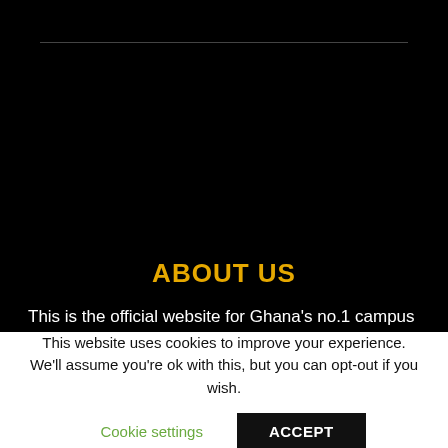[Figure (other): Black background section with a thin horizontal divider line near the top]
ABOUT US
This is the official website for Ghana's no.1 campus portal & your guide to young people. We've got the best in the latest
This website uses cookies to improve your experience. We'll assume you're ok with this, but you can opt-out if you wish.
Cookie settings   ACCEPT